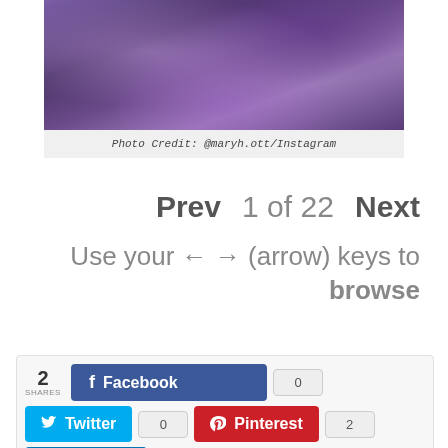[Figure (photo): Photo of person with purple/violet curly hair shown from behind, against a light gray background]
Photo Credit: @maryh.ott/Instagram
Prev  1 of 22  Next
Use your ← → (arrow) keys to browse
2 SHARES  Facebook 0  Twitter 0  Pinterest 2  LinkedIn 0